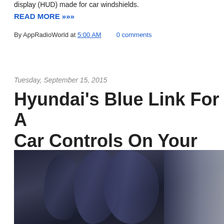display (HUD) made for car windshields.
READ MORE »»»
By AppRadioWorld at 5:00 AM    0 comments
Tuesday, September 15, 2015
Hyundai's Blue Link For A Car Controls On Your Wris
[Figure (photo): Close-up photo of dark navy blue fabric or leather material with soft folds and wrinkles, with a lighter grey textured surface visible in the upper right corner.]